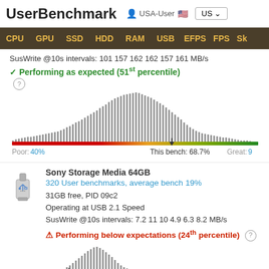UserBenchmark  USA-User  US
CPU  GPU  SSD  HDD  RAM  USB  EFPS  FPS  Sk
SusWrite @10s intervals: 101 157 162 162 157 161 MB/s
✓ Performing as expected (51st percentile)
[Figure (histogram): Histogram showing performance distribution with color bar (red-orange-green). Arrow indicator at 68.7%. Poor: 40%, Great: 9x%]
Poor: 40%   This bench: 68.7%   Great: 9
Sony Storage Media 64GB
320 User benchmarks, average bench 19%
31GB free, PID 09c2
Operating at USB 2.1 Speed
SusWrite @10s intervals: 7.2 11 10 4.9 6.3 8.2 MB/s
⚠ Performing below expectations (24th percentile)
[Figure (histogram): Second performance histogram with color bar and arrow indicator, partially visible at bottom]